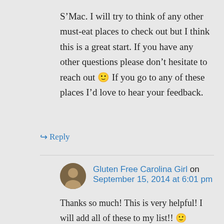S’Mac. I will try to think of any other must-eat places to check out but I think this is a great start. If you have any other questions please don’t hesitate to reach out 🙂 If you go to any of these places I’d love to hear your feedback.
↪ Reply
Gluten Free Carolina Girl on September 15, 2014 at 6:01 pm
Thanks so much! This is very helpful! I will add all of these to my list!! 🙂